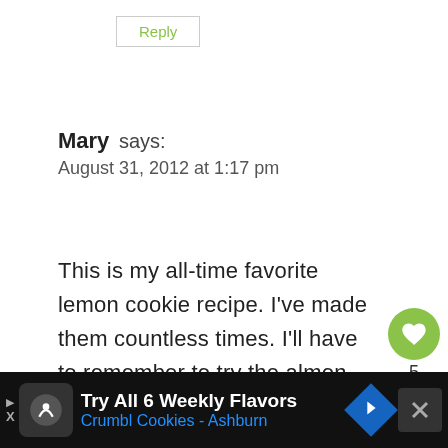Reply
Mary says:
August 31, 2012 at 1:17 pm
This is my all-time favorite lemon cookie recipe. I've made them countless times. I'll have to remember to try the almond extract one of these days too. Looking forward to seeing you tomorrow me when you wake up, k?
[Figure (infographic): Floating like (heart) button with count 5 and share button]
[Figure (infographic): Ad bar at bottom: Try All 6 Weekly Flavors Crumbl Cookies - Ashburn with close button]